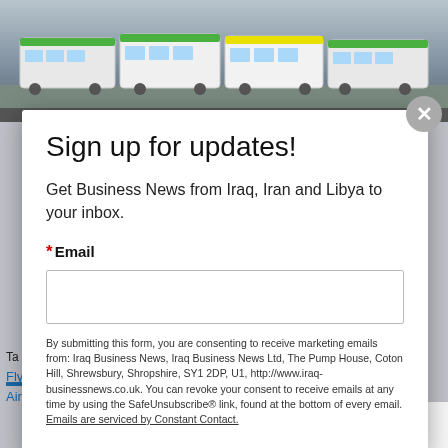[Figure (photo): Row of white buses parked in a lot, viewed from the front/side, under an overcast sky.]
Sign up for updates!
Get Business News from Iraq, Iran and Libya to your inbox.
* Email
By submitting this form, you are consenting to receive marketing emails from: Iraq Business News, Iraq Business News Ltd, The Pump House, Coton Hill, Shrewsbury, Shropshire, SY1 2DP, U1, http://www.iraq-businessnews.co.uk. You can revoke your consent to receive emails at any time by using the SafeUnsubscribe® link, found at the bottom of every email. Emails are serviced by Constant Contact.
FlyDubai, Iran, Iraqi Airways, ISIL, ISIS, Islamic State, Lebanon, Middle Airlines, terrorism, Turkey, Turkish Airlines, UAE, United Arab Emir…